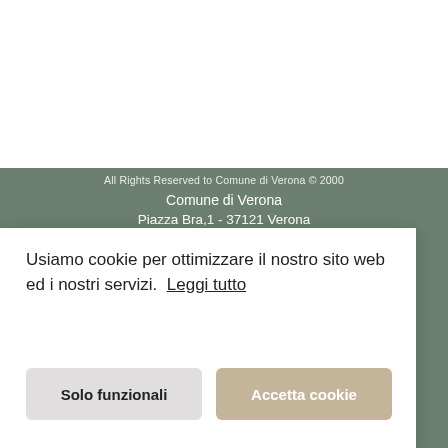[Figure (logo): Sposami a Verona logo: map pin with heart icon above the text 'SPOSAMI' in red and 'A VERONA' in sage green]
[Figure (infographic): Navigation bar icons: Facebook circle icon, Instagram circle icon, hamburger menu icon on white header]
All Rights Reserved to Comune di Verona © 2000
Comune di Verona
Piazza Bra,1 - 37121 Verona
P.IVA e C.F. 00215150236
Note Legali
Cookie Policy (UE)
Usiamo cookie per ottimizzare il nostro sito web ed i nostri servizi.  Leggi tutto
Solo funzionali
Accetta cookie